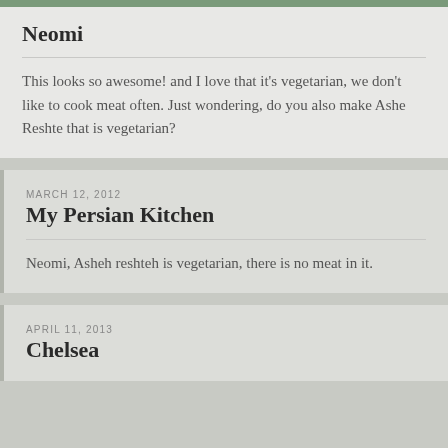Neomi
This looks so awesome! and I love that it's vegetarian, we don't like to cook meat often. Just wondering, do you also make Ashe Reshte that is vegetarian?
MARCH 12, 2012
My Persian Kitchen
Neomi, Asheh reshteh is vegetarian, there is no meat in it.
APRIL 11, 2013
Chelsea